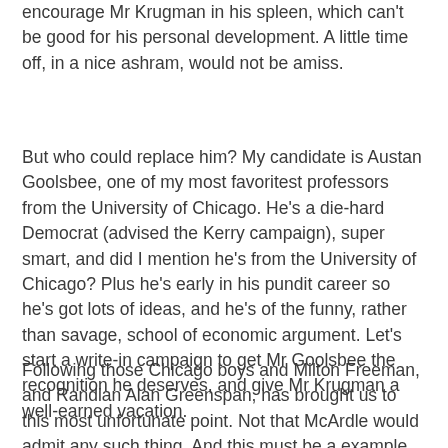encourage Mr Krugman in his spleen, which can't be good for his personal development. A little time off, in a nice ashram, would not be amiss.
But who could replace him? My candidate is Austan Goolsbee, one of my most favoritest professors from the University of Chicago. He's a die-hard Democrat (advised the Kerry campaign), super smart, and did I mention he's from the University of Chicago? Plus he's early in his pundit career so he's got lots of ideas, and he's of the funny, rather than savage, school of economic argument. Let's start a write-in campaign to get Mr Goolsbee the recognition he deserves, and give Mr Krugman a well-earned vacation.
Following those Chicago boys and Milton Freeman, and Randian Alan Greenspan, has brought us to this most unfortunate point. Not that McArdle would admit any such thing. And this must be a example of the wit for which